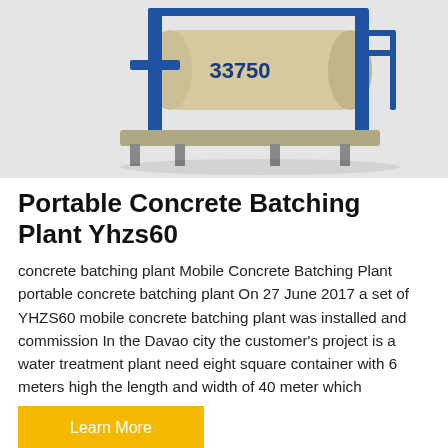[Figure (photo): Industrial concrete batching plant machine (truck mixer on a platform with blue steel frame and drum labeled 33750) on a light grey background]
Portable Concrete Batching Plant Yhzs60
concrete batching plant Mobile Concrete Batching Plant portable concrete batching plant On 27 June 2017 a set of YHZS60 mobile concrete batching plant was installed and commission In the Davao city the customer's project is a water treatment plant need eight square container with 6 meters high the length and width of 40 meter which
Learn More
[Figure (photo): Industrial cement silos with Chinese text (中交路) on the cylindrical tanks against a blue sky background. A circular scroll-to-top button with an upward arrow is visible in the bottom right corner.]